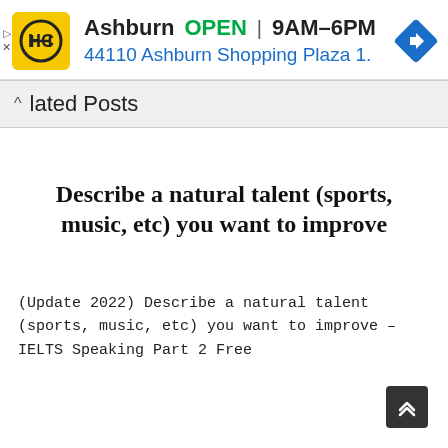[Figure (screenshot): Ad banner for Haircut place in Ashburn with logo, open hours, address and navigation icon]
^ lated Posts
[Figure (screenshot): Card thumbnail showing bold serif text: Describe a natural talent (sports, music, etc) you want to improve]
(Update 2022) Describe a natural talent (sports, music, etc) you want to improve – IELTS Speaking Part 2 Free